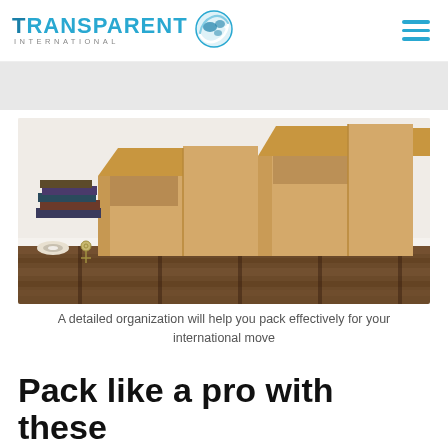Transparent International
[Figure (photo): Two open cardboard moving boxes sitting on a wooden pallet, with a stack of books and tape rolls visible in the background against a white wall]
A detailed organization will help you pack effectively for your international move
Pack like a pro with these tips